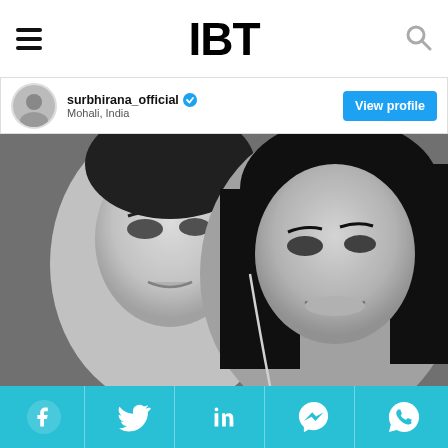IBT
surbhirana_official Mohali, India
[Figure (photo): Black and white selfie photo of two young women close together, one tilting her head and the other making a pout expression]
[Figure (infographic): Social media share bar with Facebook, Twitter, LinkedIn, Messenger, and WhatsApp icons on a teal/cyan background]